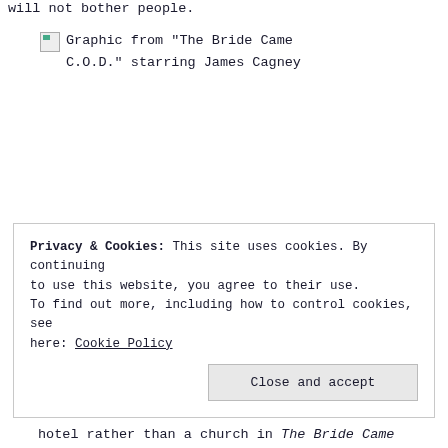will not bother people.
[Figure (photo): Graphic from "The Bride Came C.O.D." starring James Cagney — broken/unloaded image placeholder]
Privacy & Cookies: This site uses cookies. By continuing to use this website, you agree to their use.
To find out more, including how to control cookies, see here: Cookie Policy
Close and accept
hotel rather than a church in The Bride Came